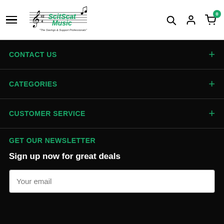ScitScat Music - The Savings & Support Professionals
CONTACT US
CATEGORIES
CUSTOMER SERVICE
GET OUR NEWSLETTER
Sign up now for great deals
Your email